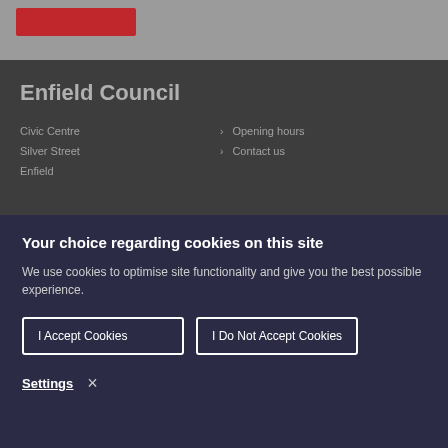[Figure (logo): Enfield Council red logo banner at top]
Enfield Council
Civic Centre
Silver Street
Enfield
> Opening hours
> Contact us
Your choice regarding cookies on this site
We use cookies to optimise site functionality and give you the best possible experience.
I Accept Cookies | I Do Not Accept Cookies
Settings  ×